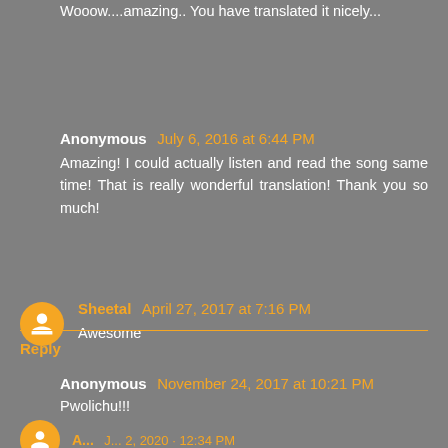Wooow....amazing.. You have translated it nicely...
Anonymous July 6, 2016 at 6:44 PM
Amazing! I could actually listen and read the song same time! That is really wonderful translation! Thank you so much!
Sheetal April 27, 2017 at 7:16 PM
Awesome
Anonymous November 24, 2017 at 10:21 PM
Pwolichu!!!
Reply